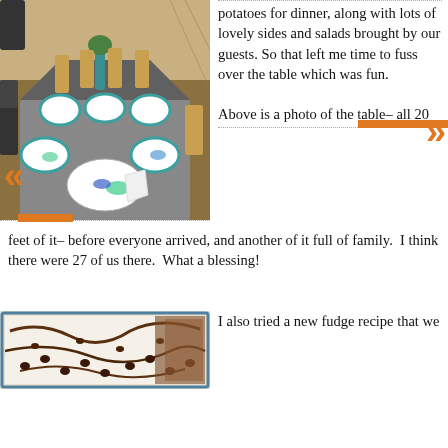[Figure (photo): Long dining table set for a large gathering with decorative plates, teal chargers, and centerpieces in a wood-floored room]
potatoes for dinner, along with lots of lovely sides and salads brought by our guests. So that left me time to fuss over the table which was fun.
Above is a photo of the table– all 20 feet of it– before everyone arrived, and another of it full of family.  I think there were 27 of us there.  What a blessing!
[Figure (photo): Baking dish with fudge recipe, showing chocolate and white layers with chocolate chips]
I also tried a new fudge recipe that we